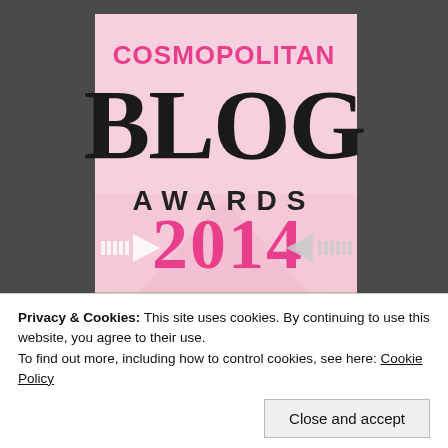[Figure (illustration): Cosmopolitan Blog Awards 2014 promotional image with pink background, large text reading COSMOPOLITAN BLOG AWARDS 2014, with arrow graphics. Below shows partial text 'The' in script and dark large letters partially visible. A cookie consent banner overlays the bottom portion.]
Privacy & Cookies: This site uses cookies. By continuing to use this website, you agree to their use.
To find out more, including how to control cookies, see here: Cookie Policy
Close and accept